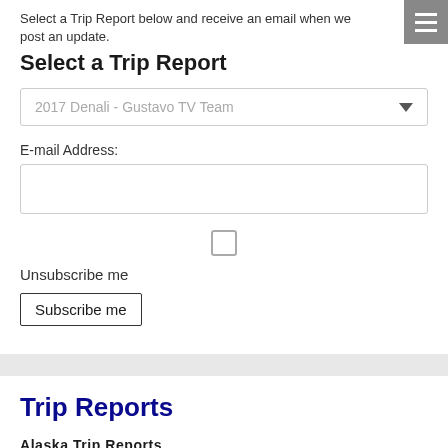Select a Trip Report below and receive an email when we post an update.
Select a Trip Report
2017 Denali - Gustavo TV Team
E-mail Address:
Unsubscribe me
Subscribe me
Trip Reports
Alaska Trip Reports
Select a Trip